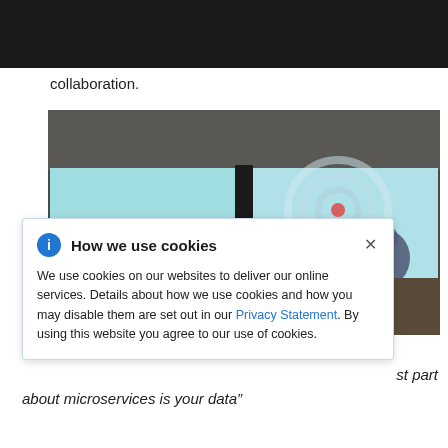collaboration.
[Figure (photo): A conference room photo showing two projection screens displaying presentation slides, with an audience visible, overlaid by a cookie consent popup dialog.]
How we use cookies
We use cookies on our websites to deliver our online services. Details about how we use cookies and how you may disable them are set out in our Privacy Statement. By using this website you agree to our use of cookies.
st part
about microservices is your data"